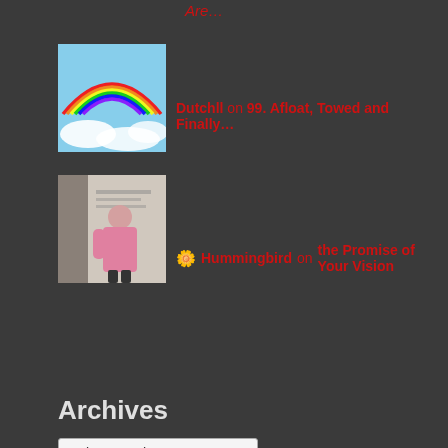Are…
[Figure (photo): Rainbow over blue sky thumbnail image]
Dutchll on 99. Afloat, Towed and Finally…
[Figure (photo): Person in pink coat standing near a building]
🌼 Hummingbird on the Promise of Your Vision
Archives
Select Month
Categories
Painting A Life's Canvas
Untangled Expression
Whispers